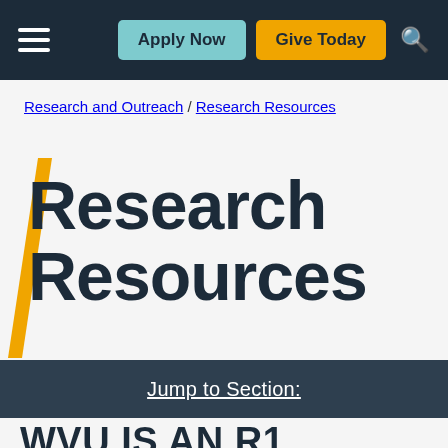Apply Now | Give Today
Research and Outreach / Research Resources
Research Resources
Jump to Section:
WVU IS AN R1